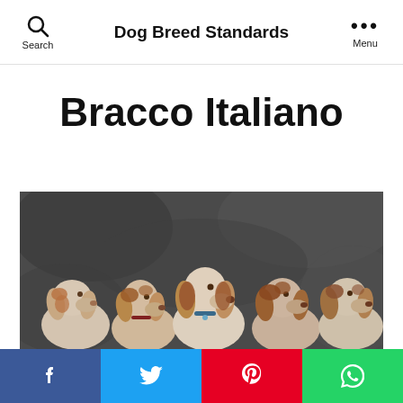Search | Dog Breed Standards | Menu
Bracco Italiano
[Figure (photo): Five Bracco Italiano dogs posing together against a dark stone background, showing their characteristic white and brown coloring with long ears.]
Facebook | Twitter | Pinterest | WhatsApp social share buttons